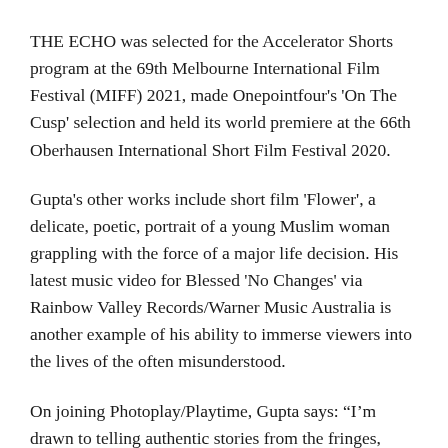THE ECHO was selected for the Accelerator Shorts program at the 69th Melbourne International Film Festival (MIFF) 2021, made Onepointfour's 'On The Cusp' selection and held its world premiere at the 66th Oberhausen International Short Film Festival 2020.
Gupta's other works include short film 'Flower', a delicate, poetic, portrait of a young Muslim woman grappling with the force of a major life decision. His latest music video for Blessed 'No Changes' via Rainbow Valley Records/Warner Music Australia is another example of his ability to immerse viewers into the lives of the often misunderstood.
On joining Photoplay/Playtime, Gupta says: “I’m drawn to telling authentic stories from the fringes, stories from outsiders who we might not typically give voice to. Photoplay supports my desire to delve into diverse worlds, and I’m a big fan of their roster. I look forward to working with them here and...